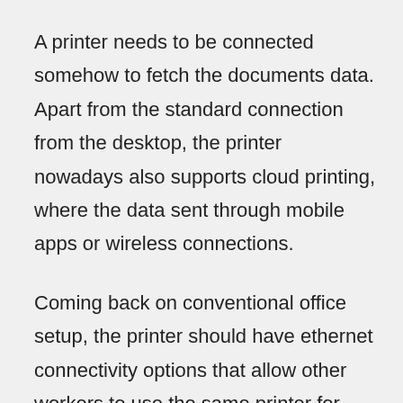A printer needs to be connected somehow to fetch the documents data. Apart from the standard connection from the desktop, the printer nowadays also supports cloud printing, where the data sent through mobile apps or wireless connections.
Coming back on conventional office setup, the printer should have ethernet connectivity options that allow other workers to use the same printer for printing requirements. This setup is essential where dozens of employees were working together on different computer systems. It saves the need for a separate printer for everyone.
Printers with wifi Direct capabilities assist in the...